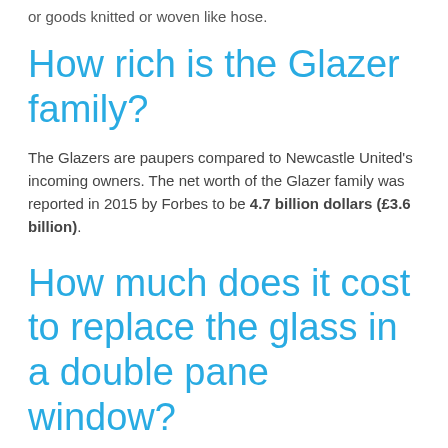or goods knitted or woven like hose.
How rich is the Glazer family?
The Glazers are paupers compared to Newcastle United's incoming owners. The net worth of the Glazer family was reported in 2015 by Forbes to be 4.7 billion dollars (£3.6 billion).
How much does it cost to replace the glass in a double pane window?